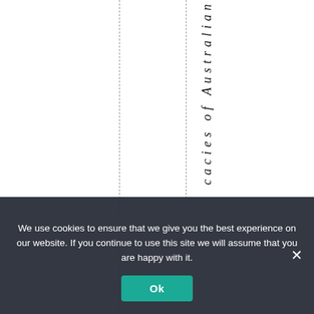cacies of Australian
We use cookies to ensure that we give you the best experience on our website. If you continue to use this site we will assume that you are happy with it.